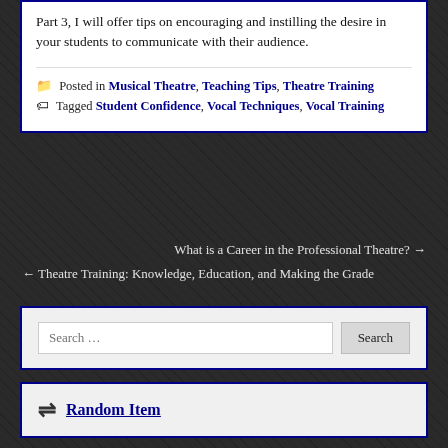Part 3, I will offer tips on encouraging and instilling the desire in your students to communicate with their audience.
Posted in Musical Theatre, Teaching Tips, Theatre Training
Tagged Student Confidence, Vocal Techniques, Vocal Training
What is a Career in the Professional Theatre? →
← Theatre Training: Knowledge, Education, and Making the Grade
Search …
Random Item